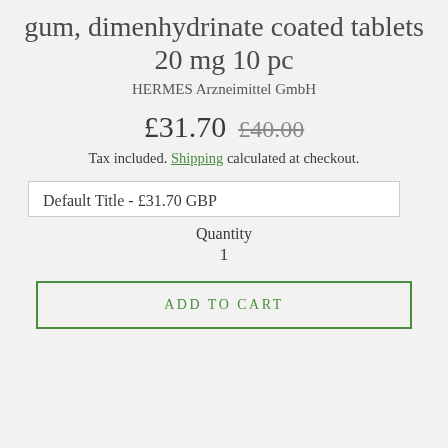gum, dimenhydrinate coated tablets 20 mg 10 pc
HERMES Arzneimittel GmbH
£31.70  £40.00
Tax included. Shipping calculated at checkout.
Default Title - £31.70 GBP
Quantity
1
ADD TO CART